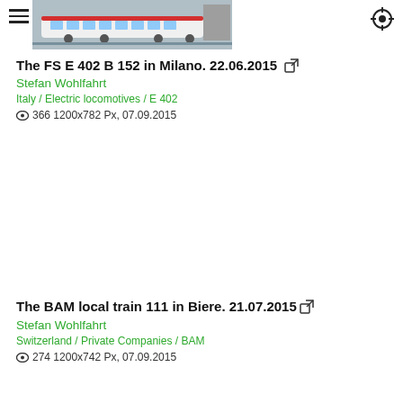[Figure (photo): A photo of a white and red train (FS E 402 B 152) at a station in Milano, with platform and tracks visible.]
The FS E 402 B 152 in Milano. 22.06.2015
Stefan Wohlfahrt
Italy / Electric locomotives / E 402
366 1200x782 Px, 07.09.2015
The BAM local train 111 in Biere. 21.07.2015
Stefan Wohlfahrt
Switzerland / Private Companies / BAM
274 1200x742 Px, 07.09.2015